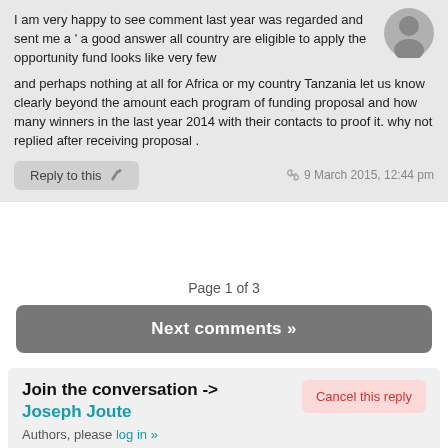I am very happy to see comment last year was regarded and sent me a ' a good answer all country are eligible to apply the opportunity fund looks like very few and perhaps nothing at all for Africa or my country Tanzania let us know clearly beyond the amount each program of funding proposal and how many winners in the last year 2014 with their contacts to proof it. why not replied after receiving proposal .
Reply to this
9 March 2015, 12:44 pm
Page 1 of 3
Next comments »
Join the conversation ->
Joseph Joute
Authors, please log in »
Cancel this reply